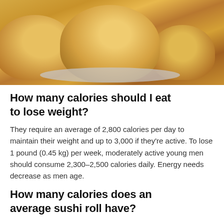[Figure (photo): A photo of baked cinnamon rolls or similar spiral buns on a plate, golden-brown in color with a visible swirl pattern on the top roll.]
How many calories should I eat to lose weight?
They require an average of 2,800 calories per day to maintain their weight and up to 3,000 if they're active. To lose 1 pound (0.45 kg) per week, moderately active young men should consume 2,300–2,500 calories daily. Energy needs decrease as men age.
How many calories does an average sushi roll have?